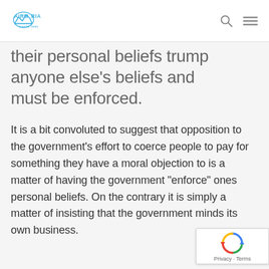AIRMARIA [logo with search and menu icons]
their personal beliefs trump anyone else's beliefs and must be enforced.
It is a bit convoluted to suggest that opposition to the government’s effort to coerce people to pay for something they have a moral objection to is a matter of having the government “enforce” ones personal beliefs. On the contrary it is simply a matter of insisting that the government minds its own business.